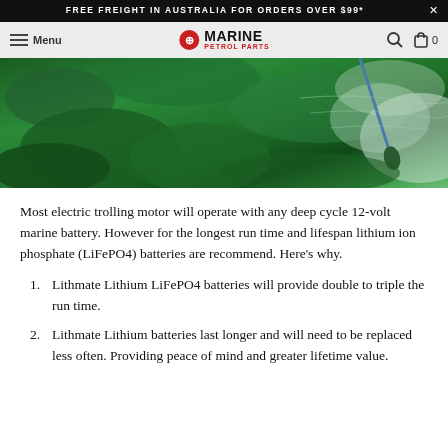FREE FREIGHT IN AUSTRALIA FOR ORDERS OVER $99*
[Figure (screenshot): Marine Petrol Parts website navigation bar with hamburger menu, logo, search icon, and cart icon showing 0 items]
[Figure (photo): Aerial view of an electric trolling motor in green water with aquatic vegetation visible beneath the surface]
Most electric trolling motor will operate with any deep cycle 12-volt marine battery. However for the longest run time and lifespan lithium ion phosphate (LiFePO4) batteries are recommend. Here’s why.
Lithmate Lithium LiFePO4 batteries will provide double to triple the run time.
Lithmate Lithium batteries last longer and will need to be replaced less often. Providing peace of mind and greater lifetime value.